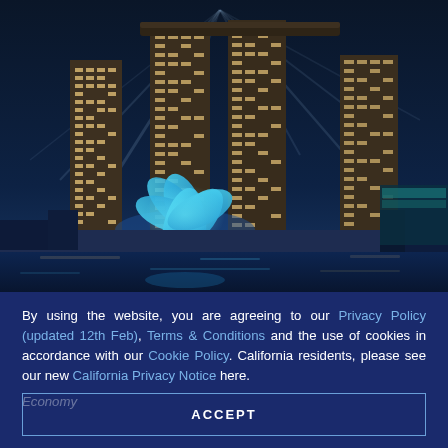[Figure (photo): Night photograph of Marina Bay Sands hotel in Singapore with light beams, ArtScience Museum lotus structure illuminated in blue, waterfront with reflections]
By using the website, you are agreeing to our Privacy Policy (updated 12th Feb), Terms & Conditions and the use of cookies in accordance with our Cookie Policy. California residents, please see our new California Privacy Notice here.
Economy
ACCEPT